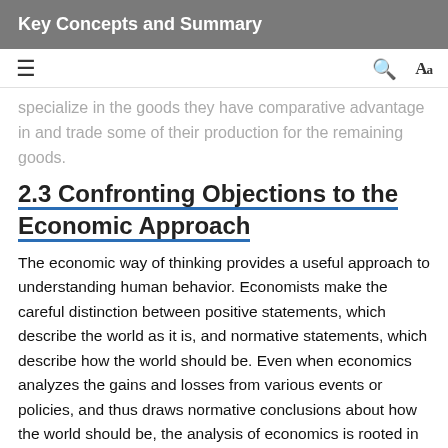Key Concepts and Summary
specialize in the goods they have comparative advantage in and trade some of their production for the remaining goods.
2.3 Confronting Objections to the Economic Approach
The economic way of thinking provides a useful approach to understanding human behavior. Economists make the careful distinction between positive statements, which describe the world as it is, and normative statements, which describe how the world should be. Even when economics analyzes the gains and losses from various events or policies, and thus draws normative conclusions about how the world should be, the analysis of economics is rooted in a positive analysis of how people, firms, and governments actually behave, not how they should